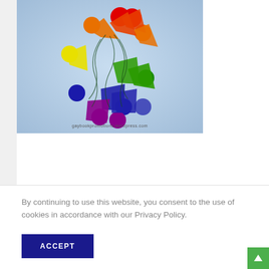[Figure (logo): Colorful logo image with stylized figures in a circle arrangement showing rainbow pride colors (red, orange, yellow, green, blue, purple) with circular heads and arrow/triangle bodies forming a pinwheel pattern. Watermark text: gaybookpromotions.wordpress.com]
By continuing to use this website, you consent to the use of cookies in accordance with our Privacy Policy.
ACCEPT